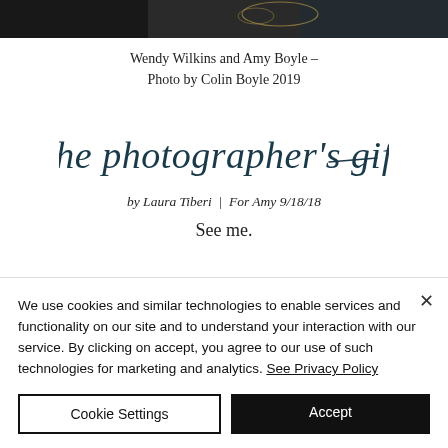[Figure (photo): Top portion of a photograph showing two people at what appears to be a masquerade event, one wearing a decorative mask with feathers]
Wendy Wilkins and Amy Boyle – Photo by Colin Boyle 2019
[Figure (illustration): Cursive script text reading 'the photographer's gift' in decorative handwritten style]
by Laura Tiberi | For Amy 9/18/18
See me.
We use cookies and similar technologies to enable services and functionality on our site and to understand your interaction with our service. By clicking on accept, you agree to our use of such technologies for marketing and analytics. See Privacy Policy